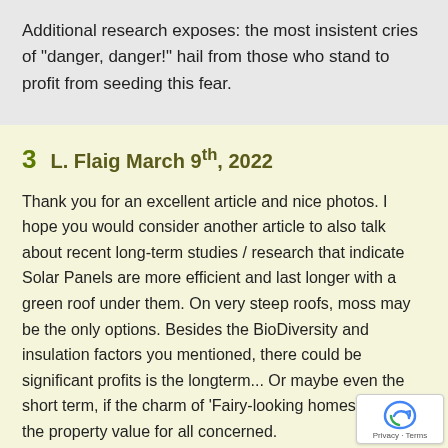Additional research exposes: the most insistent cries of "danger, danger!" hail from those who stand to profit from seeding this fear.
3  L. Flaig March 9th, 2022
Thank you for an excellent article and nice photos. I hope you would consider another article to also talk about recent long-term studies / research that indicate Solar Panels are more efficient and last longer with a green roof under them. On very steep roofs, moss may be the only options. Besides the BioDiversity and insulation factors you mentioned, there could be significant profits is the longterm... Or maybe even the short term, if the charm of 'Fairy-looking homes adds to the property value for all concerned.